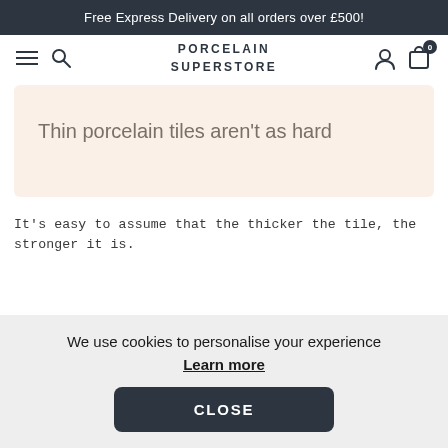Free Express Delivery on all orders over £500!
[Figure (screenshot): Navigation bar with hamburger menu, search icon, Porcelain Superstore logo, user icon, and cart icon with badge 0]
Thin porcelain tiles aren't as hard
It's easy to assume that the thicker the tile, the stronger it is.
We use cookies to personalise your experience
Learn more
CLOSE